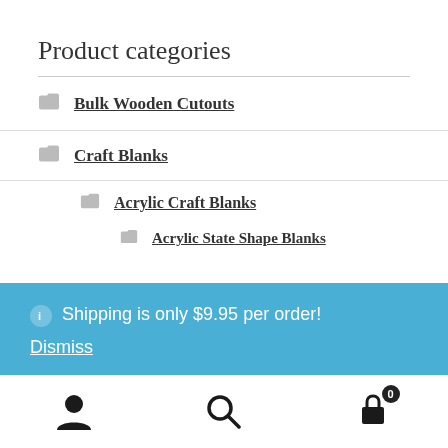Product categories
Bulk Wooden Cutouts
Craft Blanks
Acrylic Craft Blanks
Acrylic State Shape Blanks
ℹ Shipping is only $9.95 per order! Dismiss